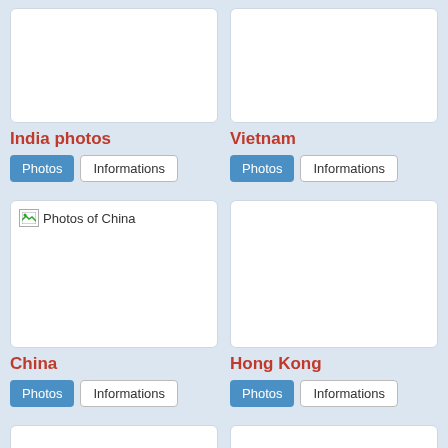[Figure (photo): India photos image placeholder (top, partially visible)]
[Figure (photo): Vietnam image placeholder (top, partially visible)]
India photos
Vietnam
Photos | Informations
Photos | Informations
[Figure (photo): Photos of China - broken image icon shown]
[Figure (photo): Hong Kong image placeholder]
China
Hong Kong
Photos | Informations
Photos | Informations
[Figure (photo): Bottom partial image placeholder left]
[Figure (photo): Bottom partial image placeholder right]